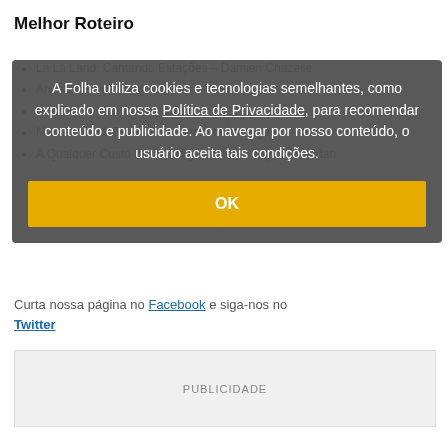Melhor Roteiro
La La Land: Cantando Estações – Damien Chazelle
Animal de Uns Instantes –
Moonlight – Barry Jenkins
Manchester à Beira-Mar – Kenneth Lonergan
A Qualquer Custo (Hell or High Water) – Taylor Sheridan
A Folha utiliza cookies e tecnologias semelhantes, como explicado em nossa Política de Privacidade, para recomendar conteúdo e publicidade. Ao navegar por nosso conteúdo, o usuário aceita tais condições.
OK
Curta nossa página no Facebook e siga-nos no Twitter
[Figure (other): Advertisement placeholder box labeled PUBLICIDADE]